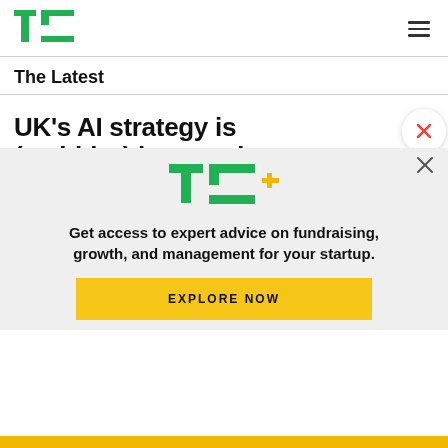TechCrunch logo and navigation
The Latest
UK's AI strategy is (partially) but needs...
[Figure (logo): TechCrunch TC+ logo in paywall banner]
Get access to expert advice on fundraising, growth, and management for your startup.
EXPLORE NOW